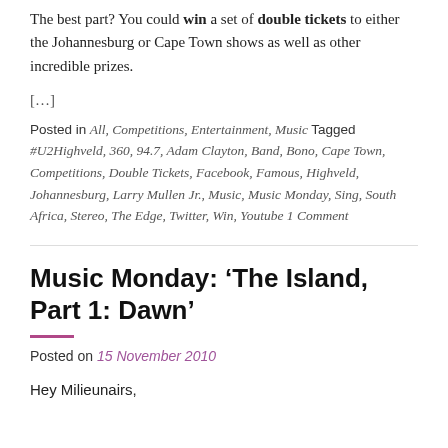The best part? You could win a set of double tickets to either the Johannesburg or Cape Town shows as well as other incredible prizes.
[...]
Posted in All, Competitions, Entertainment, Music Tagged #U2Highveld, 360, 94.7, Adam Clayton, Band, Bono, Cape Town, Competitions, Double Tickets, Facebook, Famous, Highveld, Johannesburg, Larry Mullen Jr., Music, Music Monday, Sing, South Africa, Stereo, The Edge, Twitter, Win, Youtube 1 Comment
Music Monday: ‘The Island, Part 1: Dawn’
Posted on 15 November 2010
Hey Milieunairs,